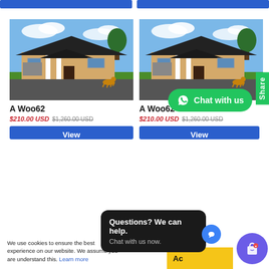[Figure (screenshot): Top blue button bar — two blue rectangular buttons side by side at the top]
[Figure (photo): Left product card: photo of a single-storey house with black roof, beige walls, white pillars, blue sky, green lawn, and a dog in the driveway]
A Woo62
$210.00 USD $1,260.00 USD
[Figure (screenshot): Blue 'View' button for left product]
[Figure (photo): Right product card: identical photo of a single-storey house with black roof, beige walls, white pillars, blue sky, green lawn, and a dog in the driveway]
A Woo62
$210.00 USD $1,260.00 USD
[Figure (screenshot): Blue 'View' button for right product]
[Figure (screenshot): Share tab — vertical green tab on right side reading 'Share']
[Figure (screenshot): WhatsApp green bubble with icon: 'Chat with us']
We use cookies to ensure the best experience on our website. We assume you are understand this. Learn more
[Figure (screenshot): Chat widget popup: 'Questions? We can help.' and 'Chat with us now.' on dark background]
[Figure (screenshot): Purple shopping bag circle icon (bottom right)]
Add